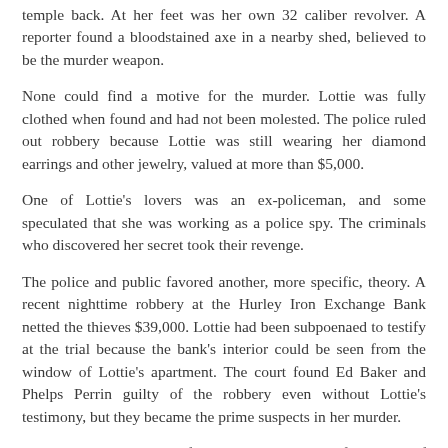temple back. At her feet was her own 32 caliber revolver. A reporter found a bloodstained axe in a nearby shed, believed to be the murder weapon.
None could find a motive for the murder. Lottie was fully clothed when found and had not been molested. The police ruled out robbery because Lottie was still wearing her diamond earrings and other jewelry, valued at more than $5,000.
One of Lottie's lovers was an ex-policeman, and some speculated that she was working as a police spy. The criminals who discovered her secret took their revenge.
The police and public favored another, more specific, theory. A recent nighttime robbery at the Hurley Iron Exchange Bank netted the thieves $39,000. Lottie had been subpoenaed to testify at the trial because the bank's interior could be seen from the window of Lottie's apartment. The court found Ed Baker and Phelps Perrin guilty of the robbery even without Lottie's testimony, but they became the prime suspects in her murder.
Lottie Morgan's elaborate funeral included a beautiful display of flowers and a procession featuring a brass band. The town raised